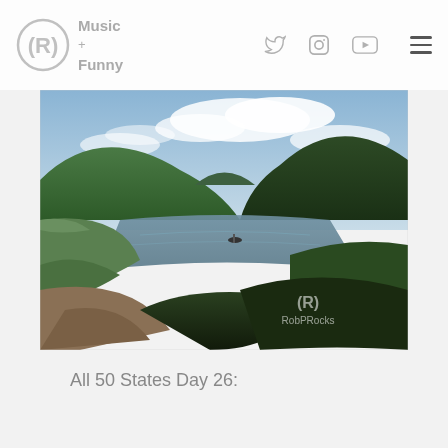(R) Music + Funny
[Figure (photo): Landscape photo of a river valley with green hills on both sides, calm water reflecting clouds, a small boat in the middle distance, and shrubs in the foreground. Watermark '(R) RobPRocks' in lower right corner.]
All 50 States Day 26: